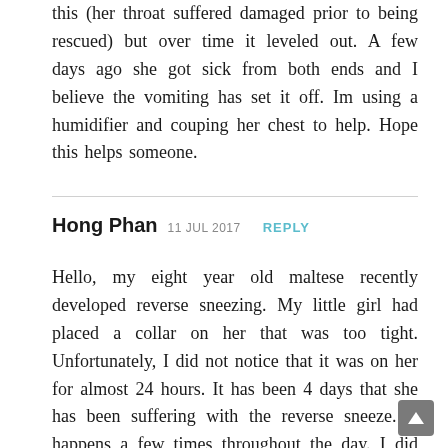this (her throat suffered damaged prior to being rescued) but over time it leveled out. A few days ago she got sick from both ends and I believe the vomiting has set it off. Im using a humidifier and couping her chest to help. Hope this helps someone.
Hong Phan 11 JUL 2017 REPLY
Hello, my eight year old maltese recently developed reverse sneezing. My little girl had placed a collar on her that was too tight. Unfortunately, I did not notice that it was on her for almost 24 hours. It has been 4 days that she has been suffering with the reverse sneeze. It happens a few times throughout the day. I did give her 1 tsp of honey today. I am hoping this will resolve soon. Any advice? Should I bring her to the the vet? I appreciate your input!